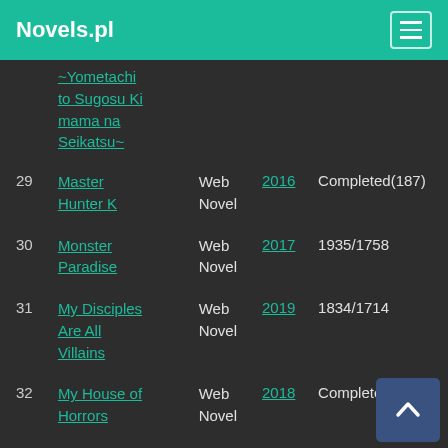Novels.pl
| # | Title | Type | Year | Status |
| --- | --- | --- | --- | --- |
|  | ~Yometachi to Sugosu Kimama na Seikatsu~ |  |  |  |
| 29 | Master Hunter K | Web Novel | 2016 | Completed(187) |
| 30 | Monster Paradise | Web Novel | 2017 | 1935/1758 |
| 31 | My Disciples Are All Villains | Web Novel | 2019 | 1834/1714 |
| 32 | My House of Horrors | Web Novel | 2018 | Completed(1211) |
| 33 | Nano Mashin | Web Novel | 2017 | Completed(493) |